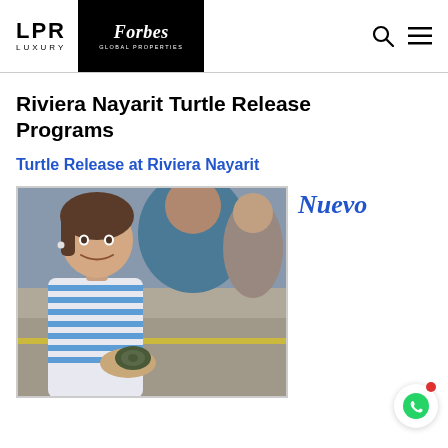LPR LUXURY | Forbes Global Properties
Riviera Nayarit Turtle Release Programs
Turtle Release at Riviera Nayarit
[Figure (photo): A young girl in a blue striped shirt holding a small turtle at a turtle release event, with adults and children in background]
Nuevo